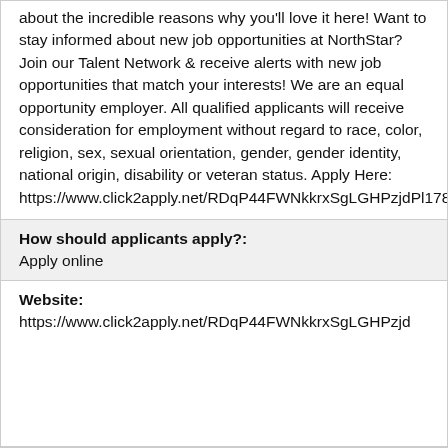about the incredible reasons why you'll love it here! Want to stay informed about new job opportunities at NorthStar? Join our Talent Network & receive alerts with new job opportunities that match your interests! We are an equal opportunity employer. All qualified applicants will receive consideration for employment without regard to race, color, religion, sex, sexual orientation, gender, gender identity, national origin, disability or veteran status. Apply Here: https://www.click2apply.net/RDqP44FWNkkrxSgLGHPzjdPl178252993
How should applicants apply?:
Apply online
Website:
https://www.click2apply.net/RDqP44FWNkkrxSgLGHPzjd